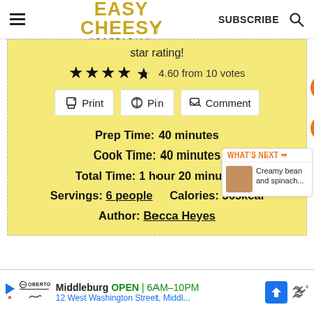EASY CHEESY VEGETARIAN | SUBSCRIBE
star rating!
★★★★★ 4.60 from 10 votes
Print  Pin  Comment
Prep Time: 40 minutes
Cook Time: 40 minutes
Total Time: 1 hour 20 minutes
Servings: 6 people  Calories: 365kcal
Author: Becca Heyes
WHAT'S NEXT → Creamy bean and spinach...
[Figure (other): Advertisement banner: Oberto ad showing Middleburg OPEN 6AM-10PM, 12 West Washington Street, Middl... with direction arrow and weather icon]